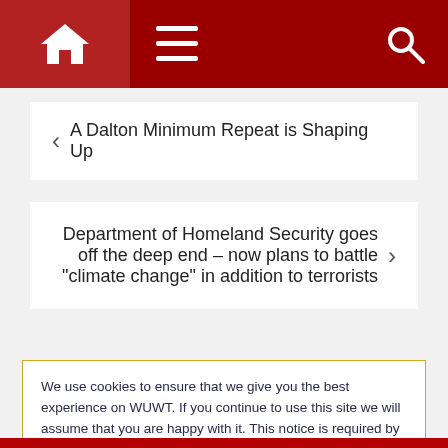WUWT navigation header with home, menu, and search icons
< A Dalton Minimum Repeat is Shaping Up
Department of Homeland Security goes off the deep end – now plans to battle "climate change" in addition to terrorists >
We use cookies to ensure that we give you the best experience on WUWT. If you continue to use this site we will assume that you are happy with it. This notice is required by recently enacted EU GDPR rules, and since WUWT is a globally read website, we need to keep the bureaucrats off our case! Cookie Policy
Close and accept